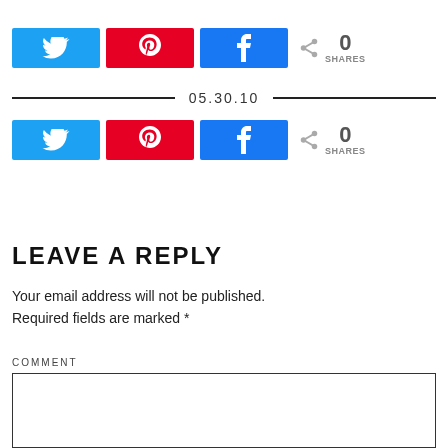[Figure (other): Social share buttons row 1: Twitter (blue), Pinterest (red), Facebook (blue), share icon with 0 SHARES count]
05.30.10
[Figure (other): Social share buttons row 2: Twitter (blue), Pinterest (red), Facebook (blue), share icon with 0 SHARES count]
LEAVE A REPLY
Your email address will not be published. Required fields are marked *
COMMENT